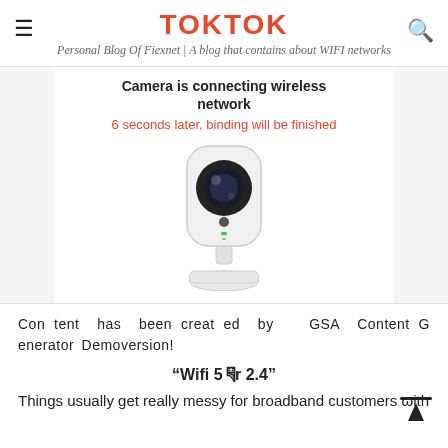TOKTOK
Personal Blog Of Fiexnet | A blog that contains about WIFI networks
[Figure (screenshot): Screenshot of a wireless camera setup screen showing 'Camera is connecting wireless network' and '6 seconds later, binding will be finished' in red, with a white IP camera device below.]
Content has been created by  GSA Content Generator Demoversion!
“Wifi 5 ༕r 2.4”
Things usually get really messy for broadband customers with